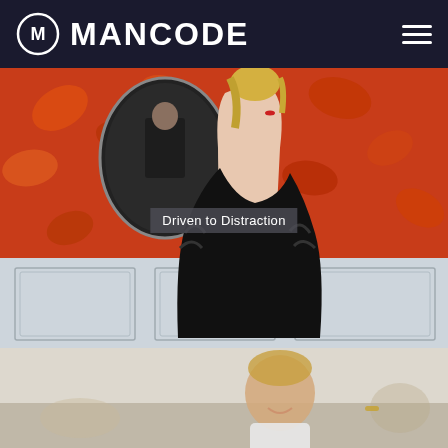MANCODE
[Figure (illustration): Retro art illustration of a blonde woman in a black fur coat standing in front of a red patterned wall with a mirror reflection of a man in a suit behind her. Lower portion shows white wainscoting panels.]
Driven to Distraction
[Figure (photo): Partial photo of a smiling young man visible at the bottom of the page, blurred background]